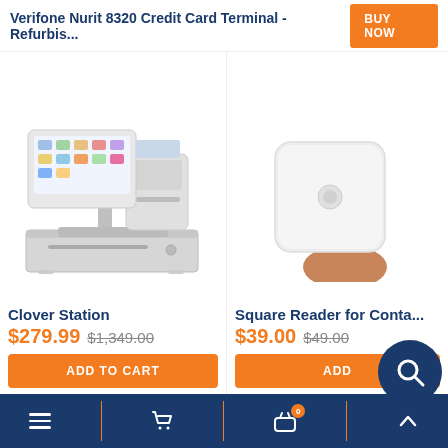Verifone Nurit 8320 Credit Card Terminal - Refurbis...
BUY NOW
[Figure (photo): Clover Station point-of-sale system with touchscreen display, receipt printer, and cash drawer, in white color]
Clover Station
$279.99  $1,349.00
ADD TO CART
[Figure (photo): Square Reader for contactless and chip payments, white square device held by hand]
Square Reader for Conta...
$39.00  $49.00
ADD
Navigation bar with menu, cart, basket (0), and up arrow icons